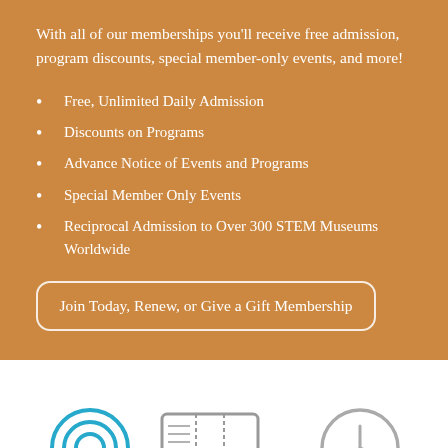With all of our memberships you'll receive free admission, program discounts, special member-only events, and more!
Free, Unlimited Daily Admission
Discounts on Programs
Advance Notice of Events and Programs
Special Member Only Events
Reciprocal Admission to Over 300 STEM Museums Worldwide
Join Today, Renew, or Give a Gift Membership
[Figure (illustration): Three outline icons partially visible at bottom: a target/bullseye icon, a ticket icon, and a clock icon, in blue/gray tones on white background]